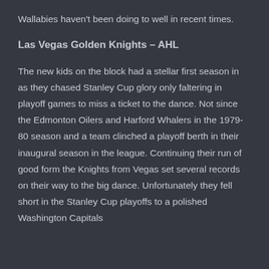Wallabies haven't been doing to well in recent times.
Las Vegas Golden Knights – AHL
The new kids on the block had a stellar first season in as they chased Stanley Cup glory only faltering in playoff games to miss a ticket to the dance. Not since the Edmonton Oilers and Harford Whalers in the 1979-80 season and a team clinched a playoff berth in their inaugural season in the league. Continuing their run of good form the Knights from Vegas set several records on their way to the big dance. Unfortunately they fell short in the Stanley Cup playoffs to a polished Washington Capitals